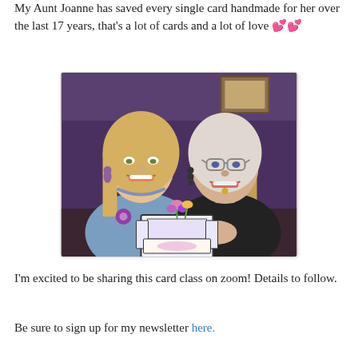My Aunt Joanne has saved every single card handmade for her over the last 17 years, that's a lot of cards and a lot of love 💕💕
[Figure (photo): Two women smiling together, one younger with blonde hair and one older with light hair and glasses, holding a decorative handmade pop-up card with flowers]
I'm excited to be sharing this card class on zoom! Details to follow.
Be sure to sign up for my newsletter here.